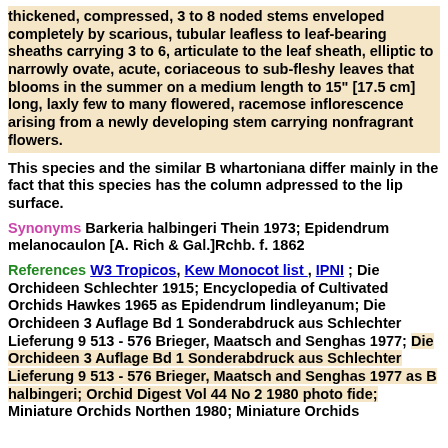thickened, compressed, 3 to 8 noded stems enveloped completely by scarious, tubular leafless to leaf-bearing sheaths carrying 3 to 6, articulate to the leaf sheath, elliptic to narrowly ovate, acute, coriaceous to sub-fleshy leaves that blooms in the summer on a medium length to 15" [17.5 cm] long, laxly few to many flowered, racemose inflorescence arising from a newly developing stem carrying nonfragrant flowers.
This species and the similar B whartoniana differ mainly in the fact that this species has the column adpressed to the lip surface.
Synonyms Barkeria halbingeri Thein 1973; Epidendrum melanocaulon [A. Rich & Gal.]Rchb. f. 1862
References W3 Tropicos, Kew Monocot list , IPNI ; Die Orchideen Schlechter 1915; Encyclopedia of Cultivated Orchids Hawkes 1965 as Epidendrum lindleyanum; Die Orchideen 3 Auflage Bd 1 Sonderabdruck aus Schlechter Lieferung 9 513 - 576 Brieger, Maatsch and Senghas 1977; Die Orchideen 3 Auflage Bd 1 Sonderabdruck aus Schlechter Lieferung 9 513 - 576 Brieger, Maatsch and Senghas 1977 as B halbingeri; Orchid Digest Vol 44 No 2 1980 photo fide; Miniature Orchids Northen 1980; Miniature Orchids